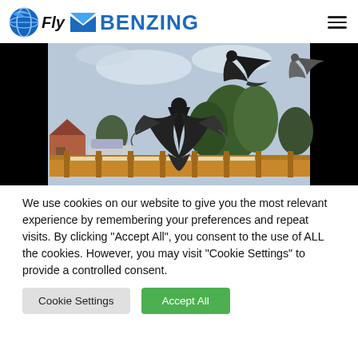Fly Benzing
[Figure (photo): Three pigeons in flight above a suburban backyard with wooden fence, trees, and houses in the background under a cloudy sky.]
We use cookies on our website to give you the most relevant experience by remembering your preferences and repeat visits. By clicking "Accept All", you consent to the use of ALL the cookies. However, you may visit "Cookie Settings" to provide a controlled consent.
Cookie Settings   Accept All